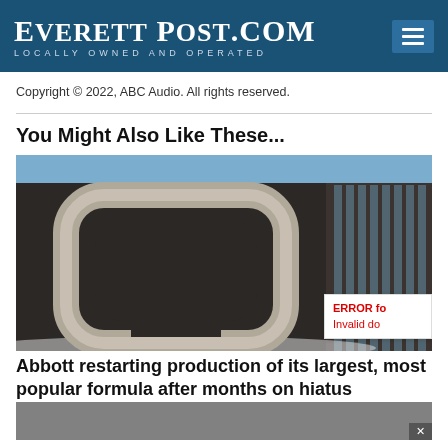EVERETT POST.COM — LOCALLY OWNED AND OPERATED
Copyright © 2022, ABC Audio. All rights reserved.
You Might Also Like These...
[Figure (photo): Abbott Laboratories building exterior with large metallic Abbott logo letter on a dark building facade, with a row of vertical windows and blue sky in the background, snow visible at ground level.]
Abbott restarting production of its largest, most popular formula after months on hiatus